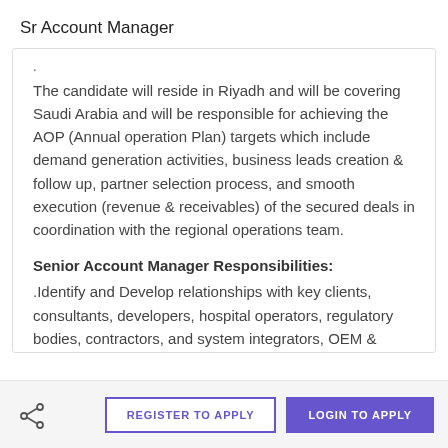Sr Account Manager
The candidate will reside in Riyadh and will be covering Saudi Arabia and will be responsible for achieving the AOP (Annual operation Plan) targets which include demand generation activities, business leads creation & follow up, partner selection process, and smooth execution (revenue & receivables) of the secured deals in coordination with the regional operations team.
Senior Account Manager Responsibilities:
.Identify and Develop relationships with key clients, consultants, developers, hospital operators, regulatory bodies, contractors, and system integrators, OEM & Trade partners
REGISTER TO APPLY   LOGIN TO APPLY